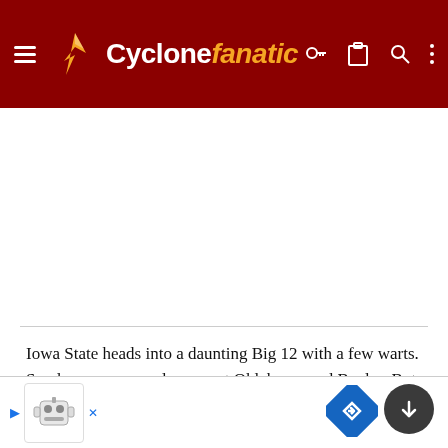Cyclone fanatic
[Figure (photo): Large white/empty image area below the header navigation bar]
Iowa State heads into a daunting Big 12 with a few warts. So, does everyone else except Oklahoma and Baylor. But, Saturday provided a basis for believing that Iowa State will be the same tough opponent they have been for the last two ye...
[Figure (other): Advertisement banner at bottom with small mascot icon on left and blue navigation diamond on right]